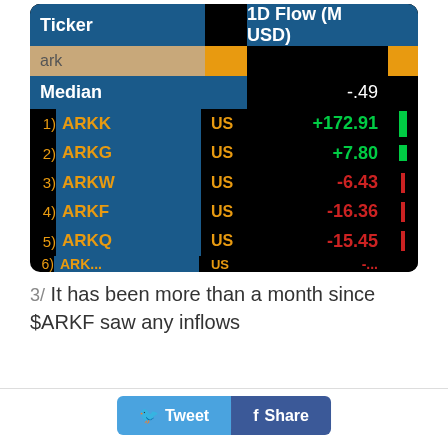[Figure (screenshot): Financial data terminal screenshot showing ARK ETF 1D Flow (M USD) table. Ticker column and 1D Flow (M USD) column. Median: -.49. 1) ARKK US +172.91, 2) ARKG US +7.80, 3) ARKW US -6.43, 4) ARKF US -16.36, 5) ARKQ US -15.45, plus partial row.]
3/ It has been more than a month since $ARKF saw any inflows
Tweet  Share